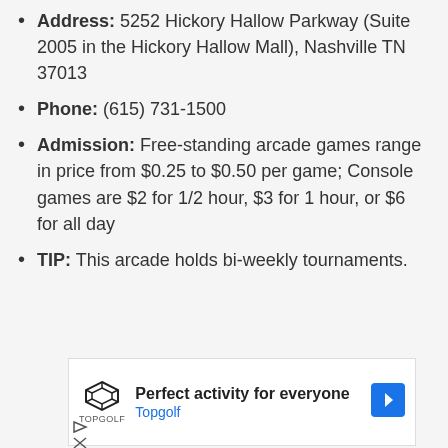Address: 5252 Hickory Hallow Parkway (Suite 2005 in the Hickory Hallow Mall), Nashville TN 37013
Phone: (615) 731-1500
Admission: Free-standing arcade games range in price from $0.25 to $0.50 per game; Console games are $2 for 1/2 hour, $3 for 1 hour, or $6 for all day
TIP: This arcade holds bi-weekly tournaments.
[Figure (other): Topgolf advertisement banner with logo, text 'Perfect activity for everyone', 'Topgolf' subtitle, navigation arrow icon, play and close controls]